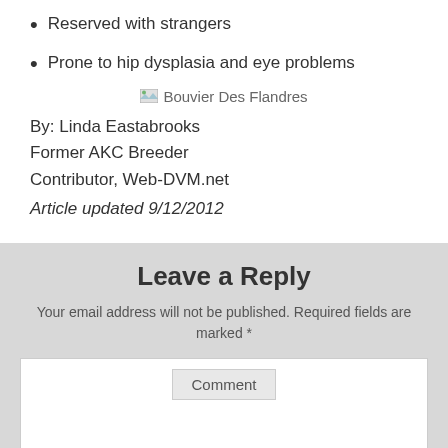Reserved with strangers
Prone to hip dysplasia and eye problems
[Figure (photo): Broken image placeholder labeled 'Bouvier Des Flandres']
By: Linda Eastabrooks
Former AKC Breeder
Contributor, Web-DVM.net
Article updated 9/12/2012
Leave a Reply
Your email address will not be published. Required fields are marked *